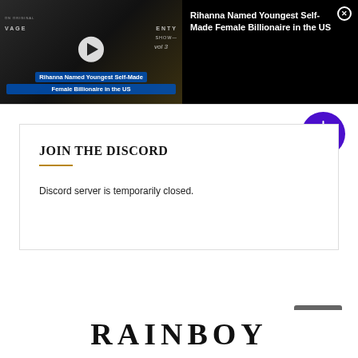[Figure (screenshot): Video notification bar showing Rihanna with play button and Savage Fenty Show branding]
Rihanna Named Youngest Self-Made Female Billionaire in the US
JOIN THE DISCORD
Discord server is temporarily closed.
[Figure (other): Purple circle icon with sun/gear symbol]
[Figure (other): Close X button overlay]
[Figure (other): Teal chat bubble icon bottom left]
[Figure (other): Dark scroll to top button bottom right]
RAINBOW